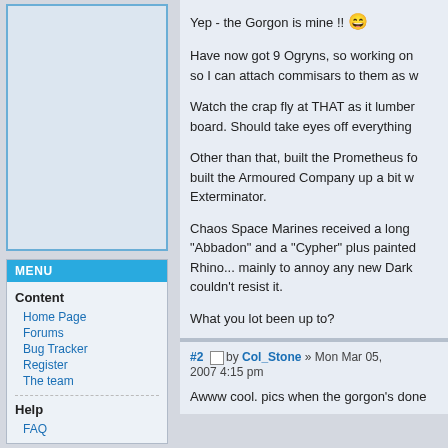[Figure (other): Light blue image placeholder box with blue border in left sidebar]
MENU
Content
Home Page
Forums
Bug Tracker
Register
The team
Help
FAQ
Yep - the Gorgon is mine !! 😄

Have now got 9 Ogryns, so working on so I can attach commisars to them as w

Watch the crap fly at THAT as it lumber board. Should take eyes off everything

Other than that, built the Prometheus fo built the Armoured Company up a bit w Exterminator.

Chaos Space Marines received a long "Abbadon" and a "Cypher" plus painted Rhino... mainly to annoy any new Dark couldn't resist it.

What you lot been up to?
#2  □ by Col_Stone » Mon Mar 05, 2007 4:15 pm

Awww cool. pics when the gorgon's done